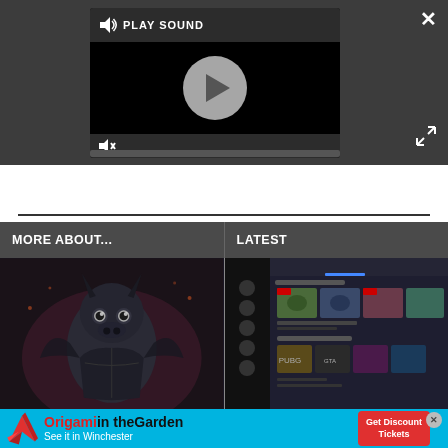[Figure (screenshot): Video player UI overlay on dark gray background. Shows a video player with 'PLAY SOUND' label at top, a play button circle in the center, a mute icon at bottom left, and a progress bar. Close (X) button at top right. Expand arrows icon at bottom right.]
[Figure (screenshot): Two-column content section. Left column header: 'MORE ABOUT...' with a dark fantasy gargoyle/character game screenshot below. Right column header: 'LATEST' with a screenshot of a gaming platform/library interface below.]
[Figure (screenshot): Advertisement banner for 'Origami in the Garden - See it in Winchester' with a red origami bird on blue background and a 'Get Discount Tickets' red button.]